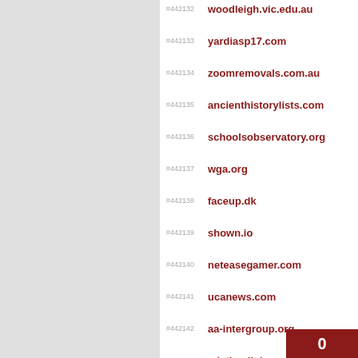#442132 woodleigh.vic.edu.au
#442133 yardiasp17.com
#442134 zoomremovals.com.au
#442135 ancienthistorylists.com
#442136 schoolsobservatory.org
#442137 wga.org
#442138 faceup.dk
#442139 shown.io
#442140 neteasegamer.com
#442141 ucanews.com
#442142 aa-intergroup.org
#442143 adating.link